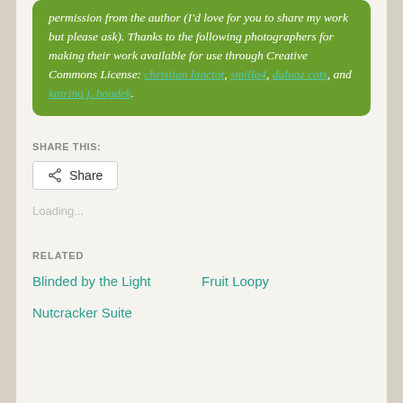permission from the author (I'd love for you to share my work  but please ask). Thanks to the following photographers for making their work available for use through Creative Commons License: christian lanctot, smilla4, duluoz cats, and katrina j. houdek.
SHARE THIS:
Share
Loading...
RELATED
Blinded by the Light
Fruit Loopy
Nutcracker Suite